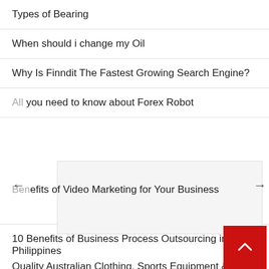Types of Bearing
When should i change my Oil
Why Is Finndit The Fastest Growing Search Engine?
All you need to know about Forex Robot
Benefits of Video Marketing for Your Business
10 Benefits of Business Process Outsourcing in the Philippines
Quality Australian Clothing, Sports Equipment & Apparel
What To Wear To A Club